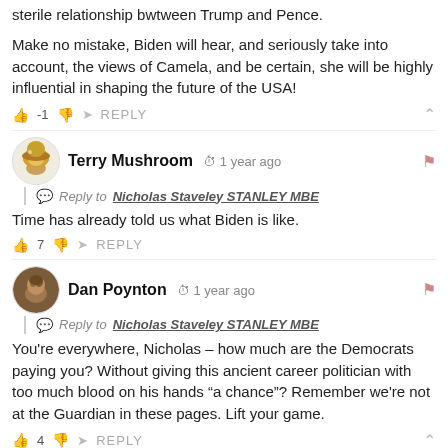sterile relationship bwtween Trump and Pence.
Make no mistake, Biden will hear, and seriously take into account, the views of Camela, and be certain, she will be highly influential in shaping the future of the USA!
Terry Mushroom  1 year ago
Reply to Nicholas Staveley STANLEY MBE
Time has already told us what Biden is like.
Dan Poynton  1 year ago
Reply to Nicholas Staveley STANLEY MBE
You're everywhere, Nicholas – how much are the Democrats paying you? Without giving this ancient career politician with too much blood on his hands "a chance"? Remember we're not at the Guardian in these pages. Lift your game.